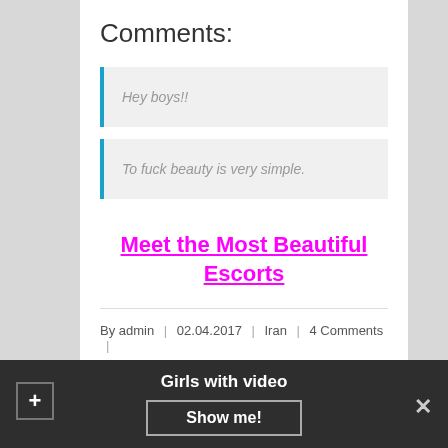Comments:
Hey boys!!
To fuck beauty is very simple.
Meet the Most Beautiful Escorts
By admin | 02.04.2017 | Iran | 4 Comments |
Girls with video
Show me!